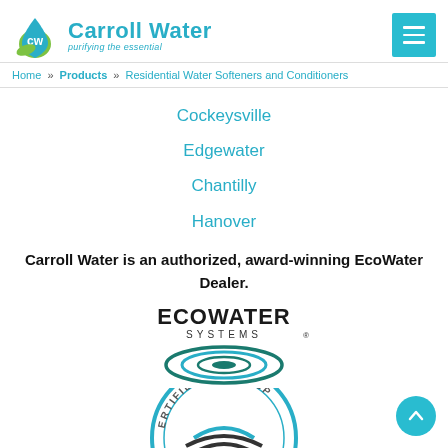[Figure (logo): Carroll Water logo with water drop icon and text 'Carroll Water purifying the essential']
[Figure (other): Hamburger menu button (three horizontal lines) in teal square]
Home » Products » Residential Water Softeners and Conditioners
Cockeysville
Edgewater
Chantilly
Hanover
Carroll Water is an authorized, award-winning EcoWater Dealer.
[Figure (logo): EcoWater Systems logo with circular swoosh graphic in teal/dark teal]
[Figure (logo): Certified Water Specialist seal/badge, partially visible at bottom]